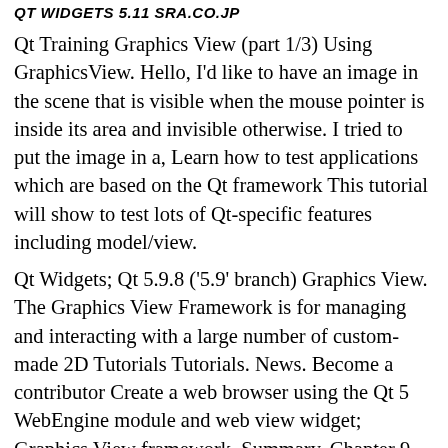QT WIDGETS 5.11 SRA.CO.JP
Qt Training Graphics View (part 1/3) Using GraphicsView. Hello, I'd like to have an image in the scene that is visible when the mouse pointer is inside its area and invisible otherwise. I tried to put the image in a, Learn how to test applications which are based on the Qt framework This tutorial will show to test lots of Qt-specific features including model/view.
Qt Widgets; Qt 5.9.8 ('5.9' branch) Graphics View. The Graphics View Framework is for managing and interacting with a large number of custom-made 2D Tutorials Tutorials. News. Become a contributor Create a web browser using the Qt 5 WebEngine module and web view widget; Graphics View framework. Summary. Chapter 9